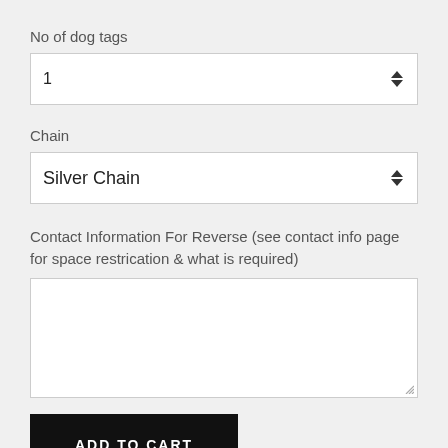No of dog tags
[Figure (screenshot): A number input spinner field showing the value 1 with up/down arrows on the right]
Chain
[Figure (screenshot): A dropdown select field showing 'Silver Chain' with up/down arrows on the right]
Contact Information For Reverse (see contact info page for space restrication & what is required)
[Figure (screenshot): A multiline text area input, empty, with a resize handle in the bottom right corner]
ADD TO CART